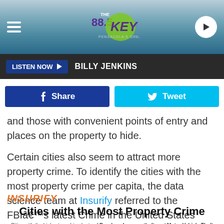88.5 THE KEY — LISTEN NOW — BILLY JENKINS
[Figure (screenshot): Social share bar with Facebook Share button and Twitter Tweet button]
and those with convenient points of entry and places on the property to hide.
Certain cities also seem to attract more property crime. To identify the cities with the most property crime per capita, the data science team at Insurify referred to the FBI’s latest Crime in the United States report on property crime rates by metropolitan area.
[Figure (logo): Insurify orange italic logo]
Cities with the Most Property Crime
Cities with the highest combined rate of Burglary, Larceny-theft, and Motor Vehicle Theft per capita